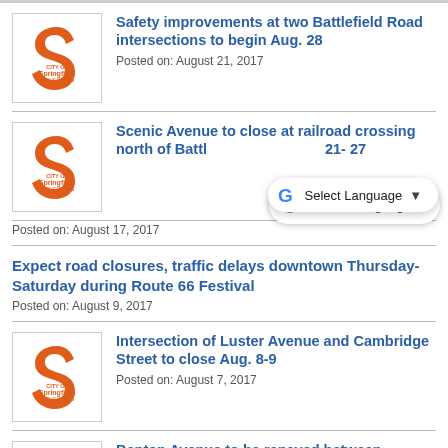Safety improvements at two Battlefield Road intersections to begin Aug. 28
Posted on: August 21, 2017
Scenic Avenue to close at railroad crossing north of Battlefield Road Aug. 21- 27
Posted on: August 17, 2017
Expect road closures, traffic delays downtown Thursday-Saturday during Route 66 Festival
Posted on: August 9, 2017
Intersection of Luster Avenue and Cambridge Street to close Aug. 8-9
Posted on: August 7, 2017
Benton Avenue to be repaved between Division Street and Central Street July 1
Posted on: July 31, 2017